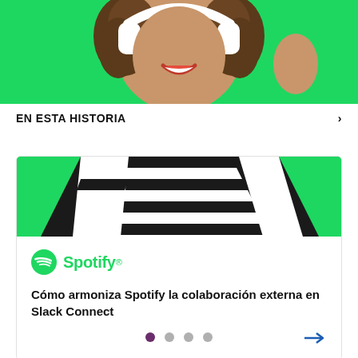[Figure (photo): Woman with curly hair wearing white headphones, smiling, against a bright green background, partially cropped at top]
EN ESTA HISTORIA
[Figure (photo): Person wearing a black and white striped shirt against a bright green background, cropped to show torso]
[Figure (logo): Spotify logo — green circle icon with sound wave lines and 'Spotify' text in green]
Cómo armoniza Spotify la colaboración externa en Slack Connect
Pagination dots: 4 dots, first one active (dark purple), rest gray